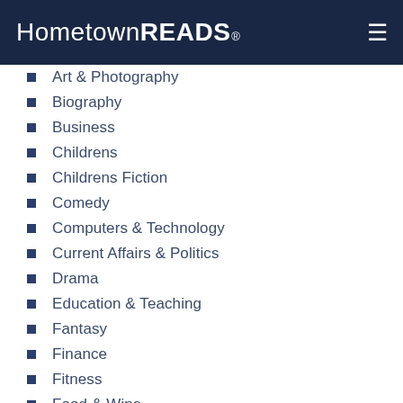Hometown READS®
Art & Photography
Biography
Business
Childrens
Childrens Fiction
Comedy
Computers & Technology
Current Affairs & Politics
Drama
Education & Teaching
Fantasy
Finance
Fitness
Food & Wine
General Fiction